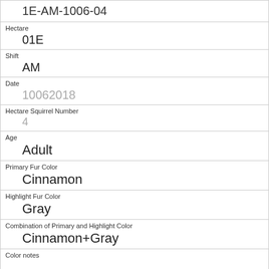| 1E-AM-1006-04 |
| Hectare | 01E |
| Shift | AM |
| Date | 10062018 |
| Hectare Squirrel Number | 4 |
| Age | Adult |
| Primary Fur Color | Cinnamon |
| Highlight Fur Color | Gray |
| Combination of Primary and Highlight Color | Cinnamon+Gray |
| Color notes |  |
| Location | Ground Plane |